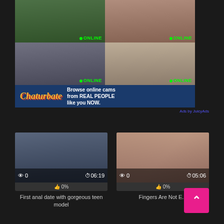[Figure (screenshot): Chaturbate advertisement banner with cam grid showing 4 online performers and Chaturbate branding with text 'Browse online cams from REAL PEOPLE like you NOW.']
Ads by JuicyAds
[Figure (screenshot): Video thumbnail for 'First anal date with gorgeous teen model' showing 0 views, 06:19 duration, 0% likes]
0%
First anal date with gorgeous teen model
[Figure (screenshot): Video thumbnail for 'Fingers Are Not En...' showing 0 views, 05:06 duration, 0% likes]
0%
Fingers Are Not En...